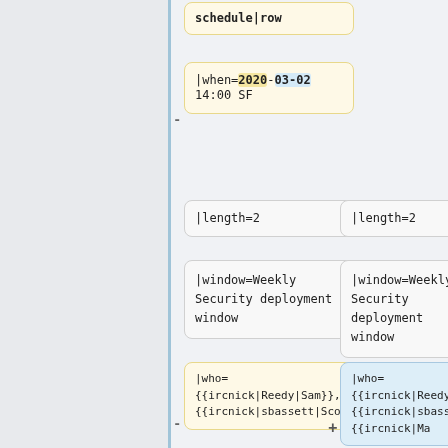schedule|row
|when=2020-03-02 14:00 SF
|length=2
|length=2
|window=Weekly Security deployment window
|window=Weekly Security deployment window
|who= {{ircnick|Reedy|Sam}}, {{ircnick|sbassett|Scott}}
|who= {{ircnick|Reedy|Sam}}, {{ircnick|sbassett|Scott}}, {{ircnick|Ma